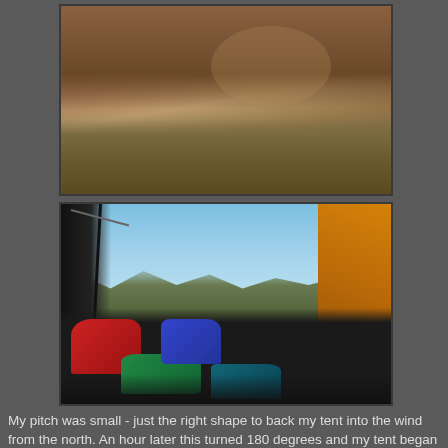[Figure (photo): Close-up photo of a brown tent pitched on dry grassland terrain, viewed from above/side showing the tent fabric and poles against arid hillside background]
[Figure (photo): View from inside a tent looking out through the open door at a mountain landscape with blue sky, snow-capped peaks in the distance; orange tent fabric visible on the right, colorful gear and sleeping bags in the foreground]
My pitch was small - just the right shape to back my tent into the wind from the north. An hour later this turned 180 degrees and my tent began to flap and inflate and became very cold. With no possibility to change orientation I was nervous about how this might develop - fortunately the wind